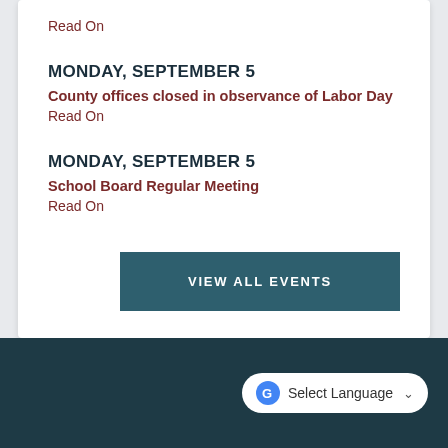Read On
MONDAY, SEPTEMBER 5
County offices closed in observance of Labor Day
Read On
MONDAY, SEPTEMBER 5
School Board Regular Meeting
Read On
VIEW ALL EVENTS
Select Language